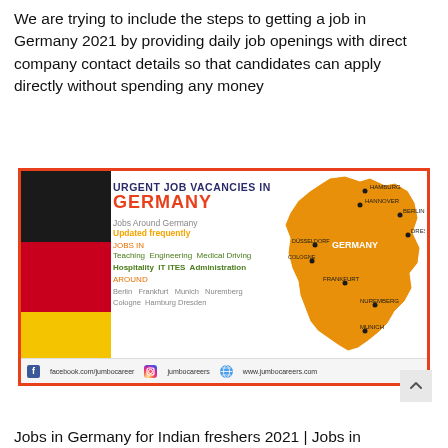We are trying to include the steps to getting a job in Germany 2021 by providing daily job openings with direct company contact details so that candidates can apply directly without spending any money
[Figure (infographic): Urgent Job Vacancies in Germany infographic showing the German flag, a map of Germany with city labels (Hamburg, Hannover, Berlin, Dresden, Düsseldorf, Cologne, Frankfurt, Nuremberg, Munich), job categories (Teaching, Engineering, Medical, Driving, Hospitality, IT, ITES, Administration), cities around Germany, and social media links for facebook.com/jumbocareer, jumbocareers (Instagram), and www.jumbocareers.com]
Jobs in Germany for Indian freshers 2021 | Jobs in